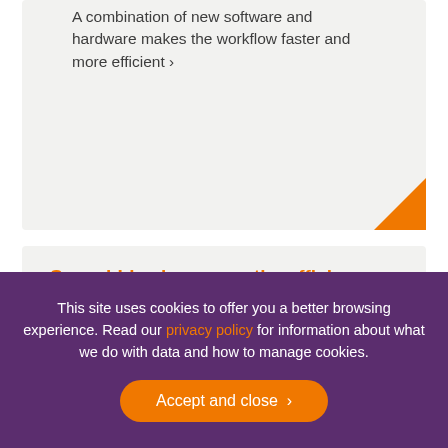A combination of new software and hardware makes the workflow faster and more efficient ›
SpeechLive increases the efficiency of The M...
This site uses cookies to offer you a better browsing experience. Read our privacy policy for information about what we do with data and how to manage cookies.
Accept and close ›